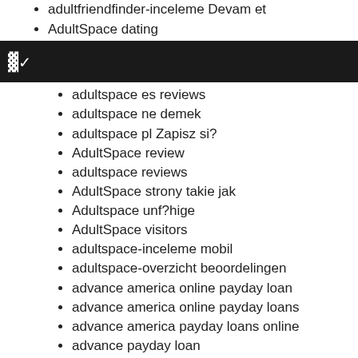adultfriendfinder-inceleme Devam et
AdultSpace dating
[Figure (screenshot): Dark navigation bar with a cursor/expand icon in white on black background]
adultspace es reviews
adultspace ne demek
adultspace pl Zapisz si?
AdultSpace review
adultspace reviews
AdultSpace strony takie jak
Adultspace unf?hige
AdultSpace visitors
adultspace-inceleme mobil
adultspace-overzicht beoordelingen
advance america online payday loan
advance america online payday loans
advance america payday loans online
advance payday loan
advance payday loans
advance payday loans online
advance title loans
Adventist Dating app reddit
Adventist Dating apps
Adventist Dating DE Promo Codes
Adventist Dating meilleures applications
Adventist Dating real singles site